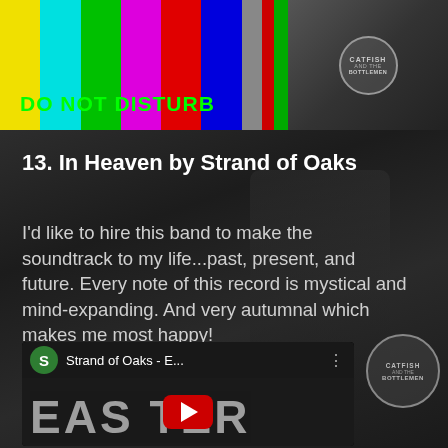[Figure (photo): TV test pattern screen with colorful vertical bars (yellow, cyan, green, magenta, red, blue) and the text 'DO NOT DISTURB' in green, plus a partially visible image on the right side]
[Figure (photo): Black and white concert photo showing a performer at a microphone, with crowd in background. Badge/emblem visible on right side reading 'CATFISH AND THE BOTTLEMEN']
13. In Heaven by Strand of Oaks
I'd like to hire this band to make the soundtrack to my life...past, present, and future. Every note of this record is mystical and mind-expanding. And very autumnal which makes me most happy!
[Figure (screenshot): YouTube embedded video player showing 'Strand of Oaks - E...' with a green avatar circle with 'S', three-dot menu, and a thumbnail showing the text 'EASTER' with a red YouTube play button overlay]